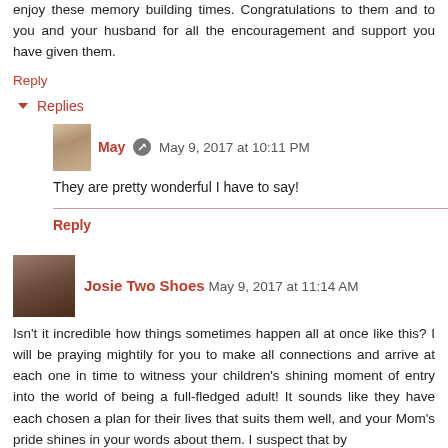enjoy these memory building times. Congratulations to them and to you and your husband for all the encouragement and support you have given them.
Reply
Replies
May   May 9, 2017 at 10:11 PM
They are pretty wonderful I have to say!
Reply
Josie Two Shoes   May 9, 2017 at 11:14 AM
Isn't it incredible how things sometimes happen all at once like this? I will be praying mightily for you to make all connections and arrive at each one in time to witness your children's shining moment of entry into the world of being a full-fledged adult! It sounds like they have each chosen a plan for their lives that suits them well, and your Mom's pride shines in your words about them. I suspect that by